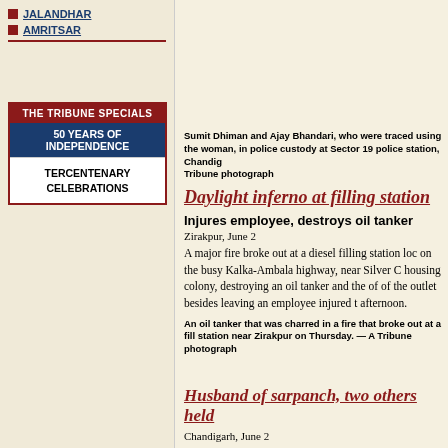JALANDHAR
AMRITSAR
[Figure (other): Box with Tribune Specials sections: 50 Years of Independence and Tercentenary Celebrations]
Sumit Dhiman and Ajay Bhandari, who were traced using the woman, in police custody at Sector 19 police station, Chandigarh. — A Tribune photograph
Daylight inferno at filling station
Injures employee, destroys oil tanker
Zirakpur, June 2
A major fire broke out at a diesel filling station loc on the busy Kalka-Ambala highway, near Silver C housing colony, destroying an oil tanker and the of of the outlet besides leaving an employee injured t afternoon.
An oil tanker that was charred in a fire that broke out at a fill station near Zirakpur on Thursday. — A Tribune photograph
Husband of sarpanch, two others held
Chandigarh, June 2
The police last night arrested three persons, includ the husband of the sarpanch of Dhanas village here and two panches of the village on the charge of r...